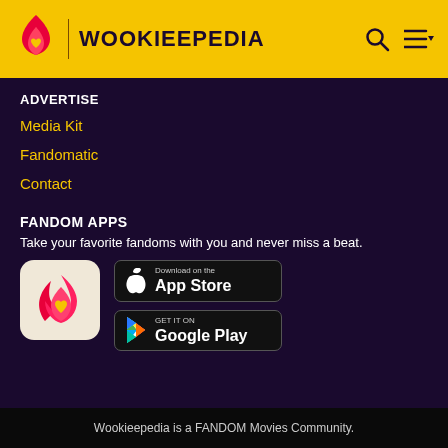WOOKIEEPEDIA
ADVERTISE
Media Kit
Fandomatic
Contact
FANDOM APPS
Take your favorite fandoms with you and never miss a beat.
[Figure (logo): Fandom app icon with pink flame and yellow heart on cream background]
[Figure (screenshot): Download on the App Store button]
[Figure (screenshot): GET IT ON Google Play button]
Wookieepedia is a FANDOM Movies Community.